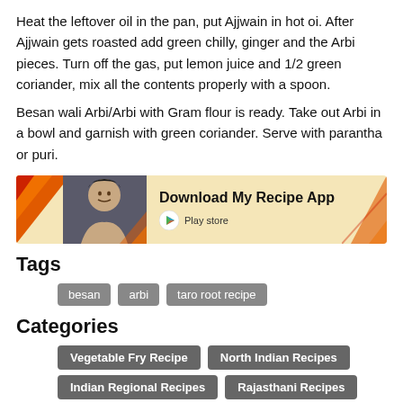Heat the leftover oil in the pan, put Ajjwain in hot oil. After Ajjwain gets roasted add green chilly, ginger and the Arbi pieces. Turn off the gas, put lemon juice and 1/2 green coriander, mix all the contents properly with a spoon.
Besan wali Arbi/Arbi with Gram flour is ready. Take out Arbi in a bowl and garnish with green coriander. Serve with parantha or puri.
[Figure (infographic): Banner advertisement: Download My Recipe App — Play store button, with woman's photo on left side and diagonal stripe decorations]
Tags
besan
arbi
taro root recipe
Categories
Vegetable Fry Recipe
North Indian Recipes
Indian Regional Recipes
Rajasthani Recipes
Please rate this recipe: